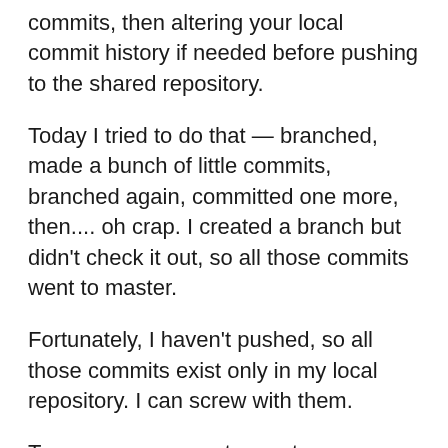commits, then altering your local commit history if needed before pushing to the shared repository.
Today I tried to do that — branched, made a bunch of little commits, branched again, committed one more, then.... oh crap. I created a branch but didn't check it out, so all those commits went to master.
Fortunately, I haven't pushed, so all those commits exist only in my local repository. I can screw with them.
To move your x most recent